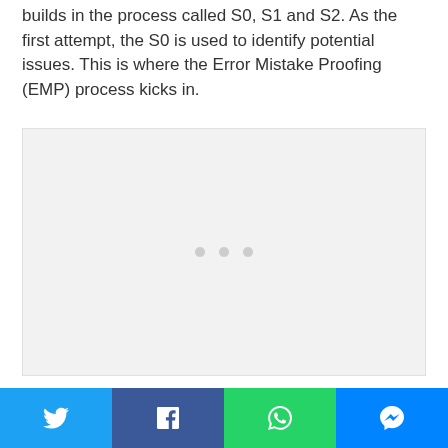builds in the process called S0, S1 and S2. As the first attempt, the S0 is used to identify potential issues. This is where the Error Mistake Proofing (EMP) process kicks in.
[Figure (other): A light gray placeholder image box with three small gray dots centered in the middle, indicating a loading or unavailable image.]
Social share bar with Twitter, Facebook, WhatsApp, and Messenger buttons